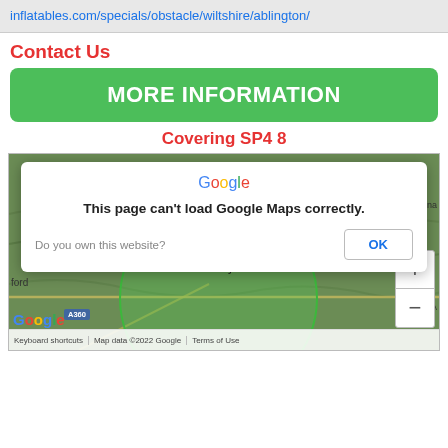inflatables.com/specials/obstacle/wiltshire/ablington/
Contact Us
MORE INFORMATION
Covering SP4 8
[Figure (screenshot): Google Maps screenshot showing area around Amesbury (SP4 8), Wiltshire, UK, with a green circle overlay indicating the coverage area. A Google Maps error dialog is overlaid stating 'This page can't load Google Maps correctly.' with an OK button and 'Do you own this website?' text. The map shows localities including Shrewton, Durrington, and Amesbury.]